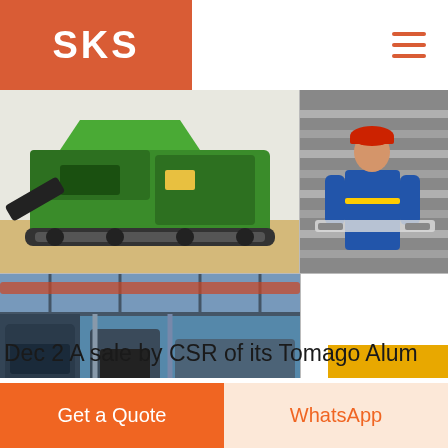SKS
[Figure (photo): Green mobile crushing/screening machine on sandy ground]
[Figure (photo): Worker in blue coveralls and red hard hat handling metal sheets in an industrial facility]
[Figure (photo): Large industrial facility interior with machinery and overhead structure]
Deutsche Bank positive on potential sale of CSR s
Dec 2 A sale by CSR of its Tomago Alum
Get a Quote
WhatsApp